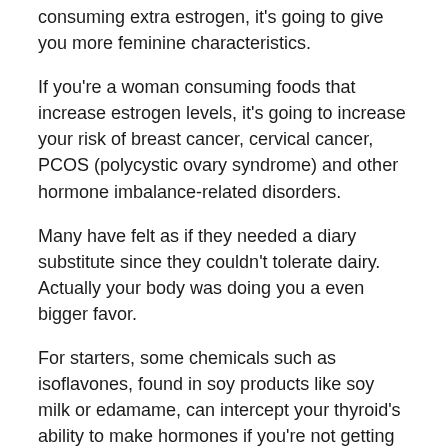consuming extra estrogen, it's going to give you more feminine characteristics.
If you're a woman consuming foods that increase estrogen levels, it's going to increase your risk of breast cancer, cervical cancer, PCOS (polycystic ovary syndrome) and other hormone imbalance-related disorders.
Many have felt as if they needed a diary substitute since they couldn't tolerate dairy. Actually your body was doing you a even bigger favor.
For starters, some chemicals such as isoflavones, found in soy products like soy milk or edamame, can intercept your thyroid's ability to make hormones if you're not getting enough iodine.
Soybeans are one of the crops that are being genetically modified. Since 1997, GMOs...